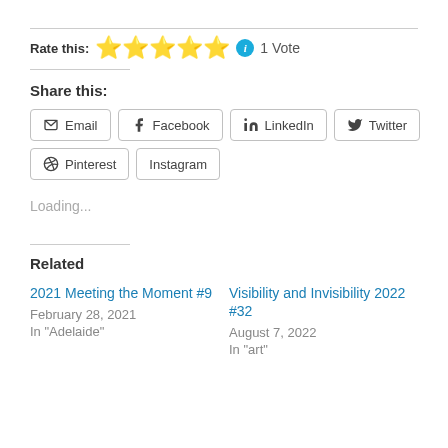Rate this: ★★★★★ ⓘ 1 Vote
Share this:
Email | Facebook | LinkedIn | Twitter | Pinterest | Instagram
Loading...
Related
2021 Meeting the Moment #9
February 28, 2021
In "Adelaide"
Visibility and Invisibility 2022 #32
August 7, 2022
In "art"